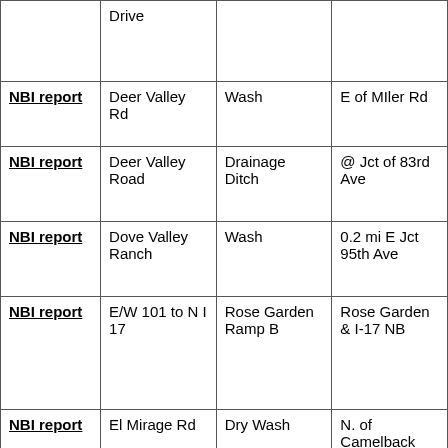|  | Road | Feature Crossed | Location |
| --- | --- | --- | --- |
|  | Drive |  |  |
| NBI report | Deer Valley Rd | Wash | E of MIler Rd |
| NBI report | Deer Valley Road | Drainage Ditch | @ Jct of 83rd Ave |
| NBI report | Dove Valley Ranch | Wash | 0.2 mi E Jct 95th Ave |
| NBI report | E/W 101 to N I 17 | Rose Garden Ramp B | Rose Garden & I-17 NB |
| NBI report | El Mirage Rd | Dry Wash | N. of Camelback |
| NBI report | Elliot Rd | SR 101L | 2.5 mi S of US 60 |